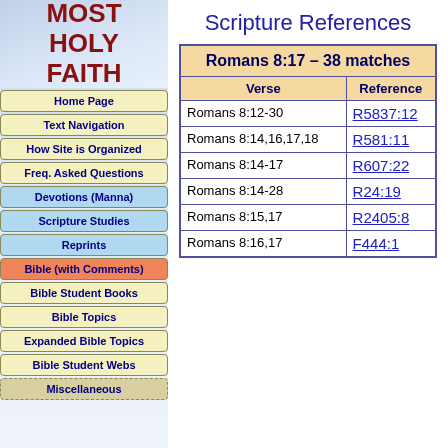MOST HOLY FAITH
Home Page
Text Navigation
How Site is Organized
Freq. Asked Questions
Devotions (Manna)
Scripture Studies
Reprints
Bible (with Comments)
Bible Student Books
Bible Topics
Expanded Bible Topics
Bible Student Webs
Miscellaneous
Scripture References
| Verse | Reference |
| --- | --- |
| Romans 8:12-30 | R5837:12 |
| Romans 8:14,16,17,18 | R581:11 |
| Romans 8:14-17 | R607:22 |
| Romans 8:14-28 | R24:19 |
| Romans 8:15,17 | R2405:8 |
| Romans 8:16,17 | F444:1 |